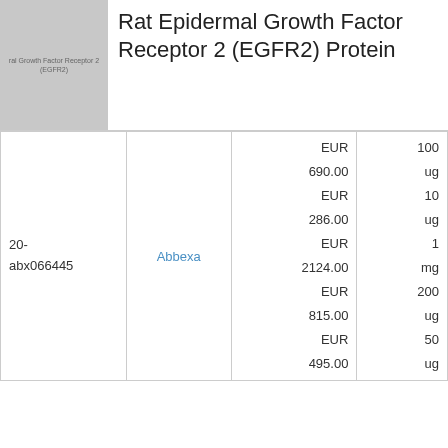[Figure (photo): Thumbnail image placeholder for Rat Epidermal Growth Factor Receptor 2 (EGFR2) protein product, grey rectangle with text label]
Rat Epidermal Growth Factor Receptor 2 (EGFR2) Protein
| ID | Supplier | Price | Quantity |
| --- | --- | --- | --- |
| 20-abx066445 | Abbexa | EUR 690.00 / EUR 286.00 / EUR 2124.00 / EUR 815.00 / EUR 495.00 | 100 ug / 10 ug / 1 mg / 200 ug / 50 ug |